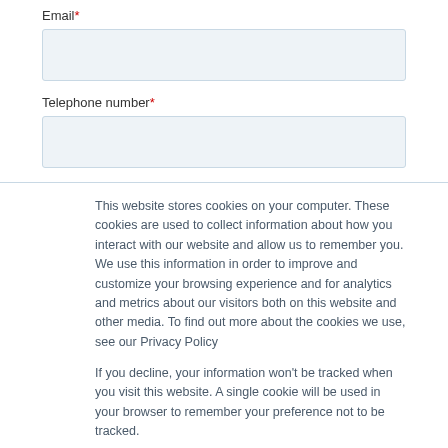Email*
[Figure (screenshot): Empty text input field for Email]
Telephone number*
[Figure (screenshot): Empty text input field for Telephone number]
This website stores cookies on your computer. These cookies are used to collect information about how you interact with our website and allow us to remember you. We use this information in order to improve and customize your browsing experience and for analytics and metrics about our visitors both on this website and other media. To find out more about the cookies we use, see our Privacy Policy

If you decline, your information won't be tracked when you visit this website. A single cookie will be used in your browser to remember your preference not to be tracked.
Cookies settings
Accept All
Decline All